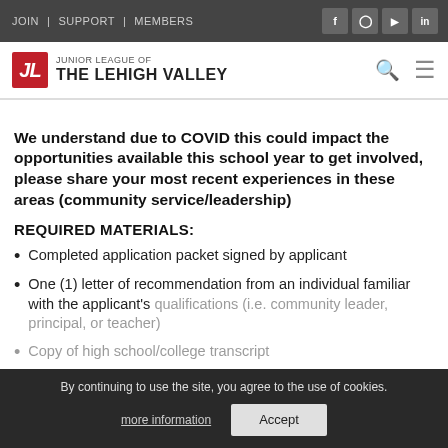JOIN | SUPPORT | MEMBERS
[Figure (logo): Junior League of The Lehigh Valley logo with red JL emblem]
We understand due to COVID this could impact the opportunities available this school year to get involved, please share your most recent experiences in these areas (community service/leadership)
REQUIRED MATERIALS:
Completed application packet signed by applicant
One (1) letter of recommendation from an individual familiar with the applicant's qualifications (i.e. community leader, principal, or teacher)
Copy of high school/college transcript